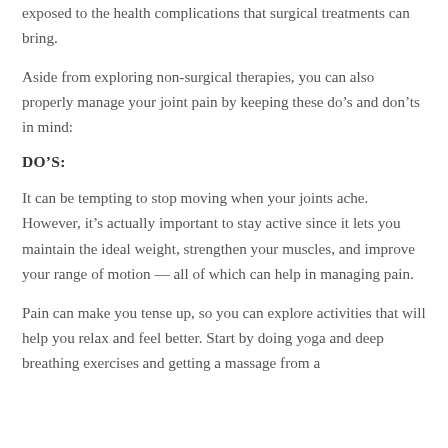exposed to the health complications that surgical treatments can bring.
Aside from exploring non-surgical therapies, you can also properly manage your joint pain by keeping these do’s and don’ts in mind:
DO’S:
It can be tempting to stop moving when your joints ache. However, it’s actually important to stay active since it lets you maintain the ideal weight, strengthen your muscles, and improve your range of motion — all of which can help in managing pain.
Pain can make you tense up, so you can explore activities that will help you relax and feel better. Start by doing yoga and deep breathing exercises and getting a massage from a